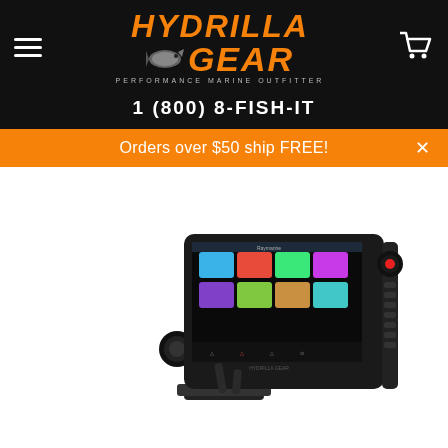HYDRILLA GEAR — Performance Marine Outfitter
1 (800) 8-FISH-IT
Orders over $50 ship FREE!
[Figure (photo): Raymarine marine chartplotter/fish finder device with colorful touchscreen display showing various navigation and sonar views, mounted on a black stand with physical control buttons on the right side.]